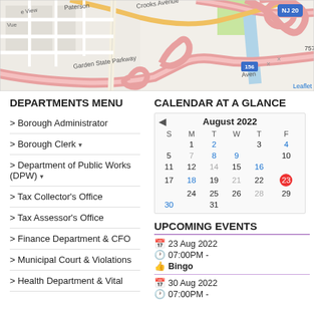[Figure (map): Street map showing NJ 20, Garden State Parkway, Crooks Avenue, Paterson area with road network]
DEPARTMENTS MENU
> Borough Administrator
> Borough Clerk ▾
> Department of Public Works (DPW) ▾
> Tax Collector's Office
> Tax Assessor's Office
> Finance Department & CFO
> Municipal Court & Violations
> Health Department & Vital
CALENDAR AT A GLANCE
[Figure (other): Calendar for August 2022 showing dates 1-31, with 23 highlighted in red circle (today), and dates 2,4,8,9,16,18,30 in blue]
UPCOMING EVENTS
23 Aug 2022
07:00PM -
Bingo
30 Aug 2022
07:00PM -